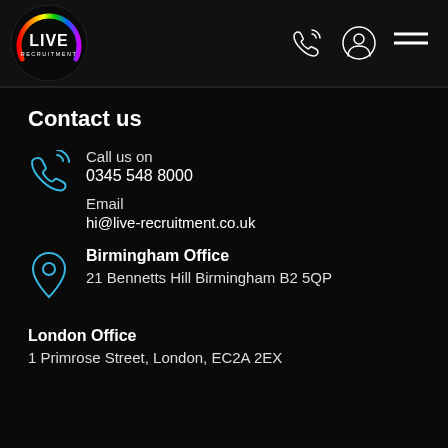[Figure (logo): Live Recruitment logo — circular rainbow swirl with 'LIVE RECRUITMENT' text on dark background]
Contact us
Call us on
0345 548 8000
Email
hi@live-recruitment.co.uk
Birmingham Office
21 Bennetts Hill Birmingham B2 5QP
London Office
1 Primrose Street, London, EC2A 2EX